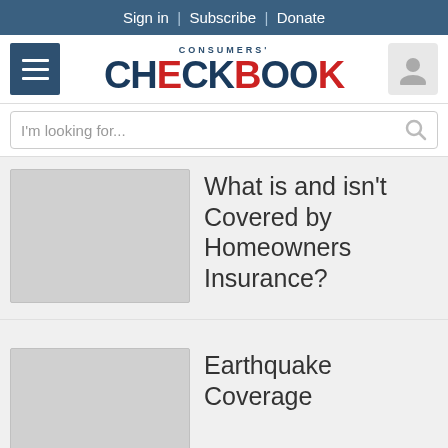Sign in | Subscribe | Donate
[Figure (logo): Consumers' Checkbook logo with red checkmarks]
I'm looking for...
What is and isn't Covered by Homeowners Insurance?
Earthquake Coverage
How Are